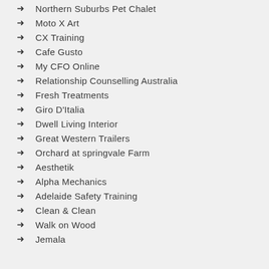Northern Suburbs Pet Chalet
Moto X Art
CX Training
Cafe Gusto
My CFO Online
Relationship Counselling Australia
Fresh Treatments
Giro D'Italia
Dwell Living Interior
Great Western Trailers
Orchard at springvale Farm
Aesthetik
Alpha Mechanics
Adelaide Safety Training
Clean & Clean
Walk on Wood
Jemala